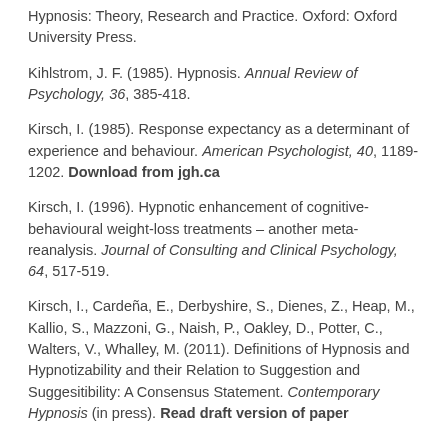Hypnosis: Theory, Research and Practice. Oxford: Oxford University Press.
Kihlstrom, J. F. (1985). Hypnosis. Annual Review of Psychology, 36, 385-418.
Kirsch, I. (1985). Response expectancy as a determinant of experience and behaviour. American Psychologist, 40, 1189-1202. Download from jgh.ca
Kirsch, I. (1996). Hypnotic enhancement of cognitive-behavioural weight-loss treatments – another meta-reanalysis. Journal of Consulting and Clinical Psychology, 64, 517-519.
Kirsch, I., Cardeña, E., Derbyshire, S., Dienes, Z., Heap, M., Kallio, S., Mazzoni, G., Naish, P., Oakley, D., Potter, C., Walters, V., Whalley, M. (2011). Definitions of Hypnosis and Hypnotizability and their Relation to Suggestion and Suggesitibility: A Consensus Statement. Contemporary Hypnosis (in press). Read draft version of paper